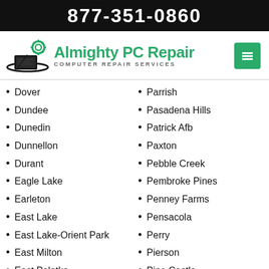877-351-0860
[Figure (logo): Almighty PC Repair logo with laptop and gear icon, green text reading 'Almighty PC Repair' and subtitle 'COMPUTER REPAIR SERVICES', with a green menu button on the right]
Dover
Dundee
Dunedin
Dunnellon
Durant
Eagle Lake
Earleton
East Lake
East Lake-Orient Park
East Milton
East Palatka
Eastlake Weir
Eastpoint
Parrish
Pasadena Hills
Patrick Afb
Paxton
Pebble Creek
Pembroke Pines
Penney Farms
Pensacola
Perry
Pierson
Pine Castle
Pine Hills
Pine Ridge